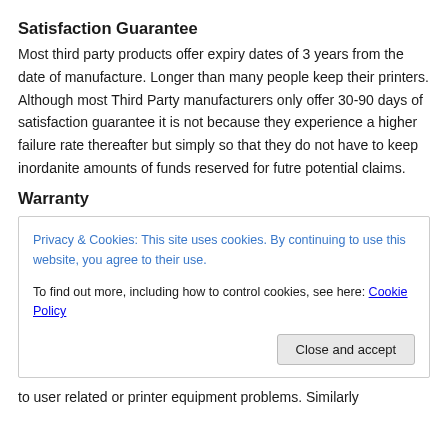Satisfaction Guarantee
Most third party products offer expiry dates of 3 years from the date of manufacture. Longer than many people keep their printers. Although most Third Party manufacturers only offer 30-90 days of satisfaction guarantee it is not because they experience a higher failure rate thereafter but simply so that they do not have to keep inordanite amounts of funds reserved for futre potential claims.
Warranty
Privacy & Cookies: This site uses cookies. By continuing to use this website, you agree to their use.
To find out more, including how to control cookies, see here: Cookie Policy
[Close and accept button]
to user related or printer equipment problems. Similarly